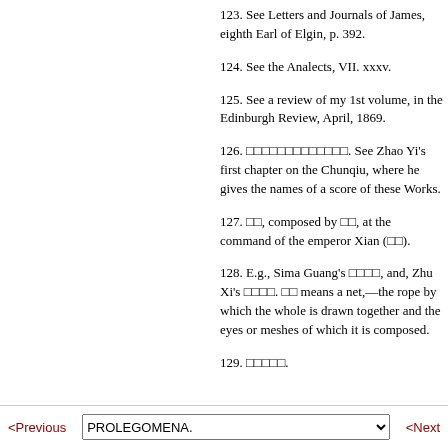123. See Letters and Journals of James, eighth Earl of Elgin, p. 392.
124. See the Analects, VII. xxxv.
125. See a review of my 1st volume, in the Edinburgh Review, April, 1869.
126. □□□□□□□□□□□□□. See Zhao Yi's first chapter on the Chunqiu, where he gives the names of a score of these Works.
127. □□, composed by □□, at the command of the emperor Xian (□□).
128. E.g., Sima Guang's □□□□, and, Zhu Xi's □□□□. □□ means a net,—the rope by which the whole is drawn together and the eyes or meshes of which it is composed.
129. □□□□□.
< Previous   PROLEGOMENA.   < Next